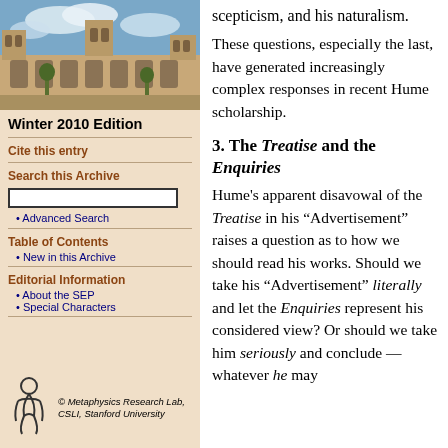[Figure (photo): Aerial/exterior photograph of a historic university building (sandstone gothic architecture) with blue cloudy sky]
Winter 2010 Edition
Cite this entry
Search this Archive
Advanced Search
Table of Contents
New in this Archive
Editorial Information
About the SEP
Special Characters
[Figure (logo): Metaphysics Research Lab, CSLI, Stanford University logo with stylized figure]
© Metaphysics Research Lab, CSLI, Stanford University
scepticism, and his naturalism.
These questions, especially the last, have generated increasingly complex responses in recent Hume scholarship.
3. The Treatise and the Enquiries
Hume's apparent disavowal of the Treatise in his “Advertisement” raises a question as to how we should read his works. Should we take his “Advertisement” literally and let the Enquiries represent his considered view? Or should we take him seriously and conclude — whatever he may